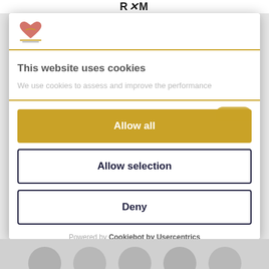RXM
[Figure (logo): Site logo with heart/hands icon in gold and red, small text below]
This website uses cookies
We use cookies to assess and improve the performance
Allow all
Allow selection
Deny
Powered by Cookiebot by Usercentrics